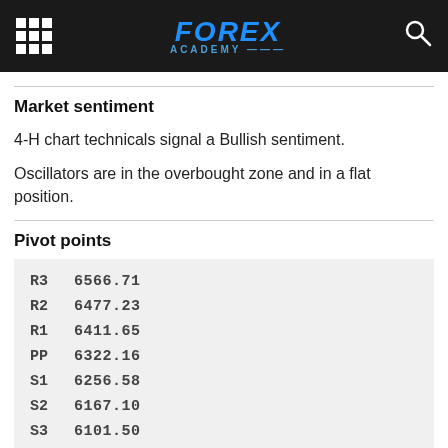FOREX ACADEMY
Market sentiment
4-H chart technicals signal a Bullish sentiment.
Oscillators are in the overbought zone and in a flat position.
Pivot points
| Label | Value |
| --- | --- |
| R3 | 6566.71 |
| R2 | 6477.23 |
| R1 | 6411.65 |
| PP | 6322.16 |
| S1 | 6256.58 |
| S2 | 6167.10 |
| S3 | 6101.50 |